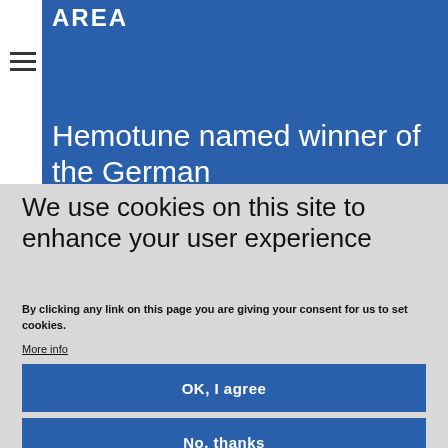AREA
Hemotune named winner of the German
We use cookies on this site to enhance your user experience
By clicking any link on this page you are giving your consent for us to set cookies.
More info
OK, I agree
No, thanks